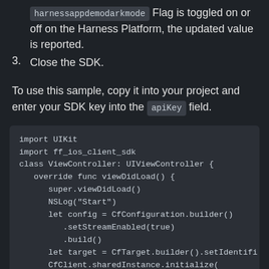harnessappdemodarkmode Flag is toggled on or off on the Harness Platform, the updated value is reported.
3. Close the SDK.
To use this sample, copy it into your project and enter your SDK key into the apiKey field.
[Figure (screenshot): Code block showing Swift iOS SDK sample code: imports UIKit and ff_ios_client_sdk, defines ViewController class, viewDidLoad method with super call, NSLog, CfConfiguration builder with setStreamEnabled and build, CfTarget builder, CfClient sharedInstance initialize with apiKey and configuration:config.]